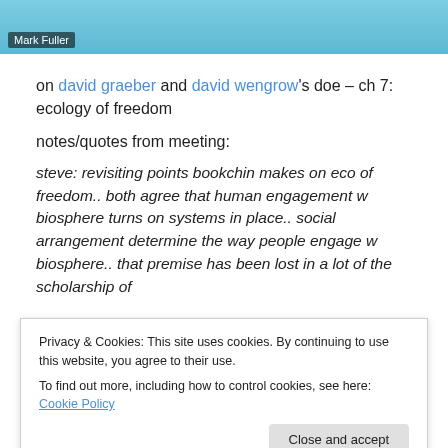[Figure (photo): Cropped photo of a person with blue/teal hair, with a name label 'Mark Fuller' overlaid at the bottom left]
on david graeber and david wengrow's doe – ch 7: ecology of freedom
notes/quotes from meeting:
steve: revisiting points bookchin makes on eco of freedom.. both agree that human engagement w biosphere turns on systems in place.. social arrangement determine the way people engage w biosphere.. that premise has been lost in a lot of the scholarship of
Privacy & Cookies: This site uses cookies. By continuing to use this website, you agree to their use.
To find out more, including how to control cookies, see here: Cookie Policy
there idea of eco of freedom.. freedom to come into agri